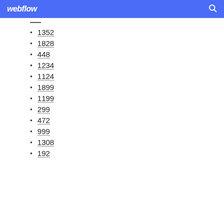webflow
1352
1828
448
1234
1124
1899
1199
299
472
999
1308
192